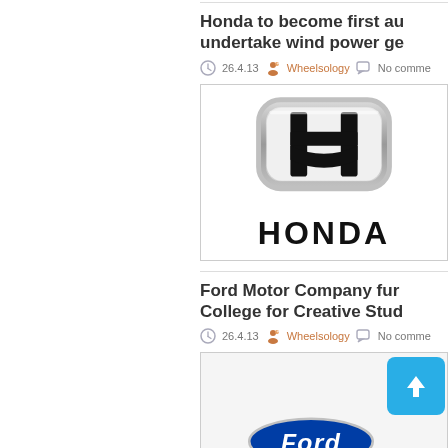Honda to become first au undertake wind power ge
26.4.13  Wheelsology  No comme
[Figure (logo): Honda logo - silver H emblem above HONDA text in bold black letters]
Ford Motor Company fur College for Creative Stud
26.4.13  Wheelsology  No comme
[Figure (screenshot): Thumbnail area with blue upload button (white arrow pointing up) in top-right corner and partial Ford logo at bottom]